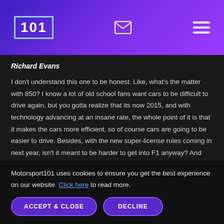101 [logo] [email icon] [hamburger menu]
Richard Evans
I don't understand this one to be honest. Like, what's the matter with 850? I know a lot of old school fans want cars to be difficult to drive again, but you gotta realize that its now 2015, and with technology advancing at an insane rate, the whole point of it is that it makes the cars more efficient, so of course cars are going to be easier to drive. Besides, with the new super-license rules coming in next year, isn't it meant to be harder to get into F1 anyway? And this is even after Traction Control was banned a decade ago.
Some fans are going to have to make a choice: Is F1 a "show" or is it
Motorsport101 uses cookies to ensure you get the best experience on our website. Click here to read more.
ACCEPT & CLOSE   DECLINE